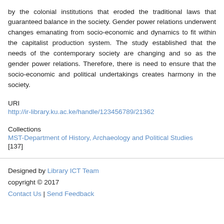by the colonial institutions that eroded the traditional laws that guaranteed balance in the society. Gender power relations underwent changes emanating from socio-economic and dynamics to fit within the capitalist production system. The study established that the needs of the contemporary society are changing and so as the gender power relations. Therefore, there is need to ensure that the socio-economic and political undertakings creates harmony in the society.
URI
http://ir-library.ku.ac.ke/handle/123456789/21362
Collections
MST-Department of History, Archaeology and Political Studies [137]
Designed by Library ICT Team copyright © 2017 Contact Us | Send Feedback